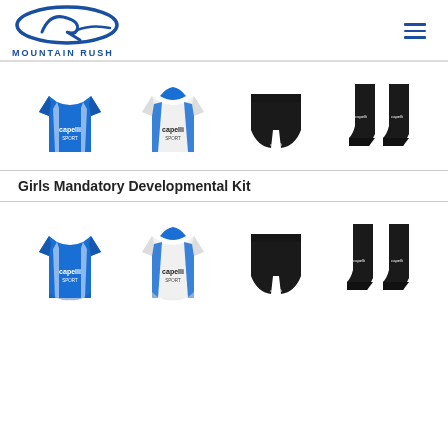MOUNTAIN RUSH
[Figure (illustration): Four-item kit row: blue Capelli jersey, white Capelli jersey, black shorts, black socks (upper kit)]
Girls Mandatory Developmental Kit
[Figure (illustration): Four-item kit row: blue Capelli jersey, white Capelli jersey, black shorts, black socks (lower kit)]